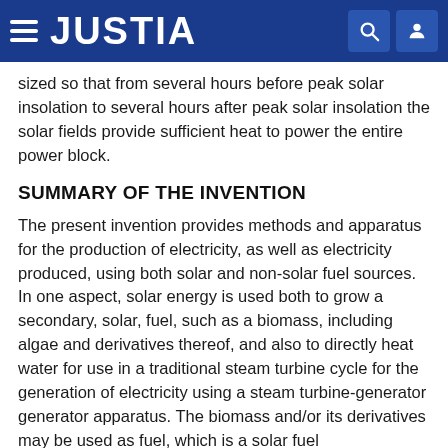JUSTIA
sized so that from several hours before peak solar insolation to several hours after peak solar insolation the solar fields provide sufficient heat to power the entire power block.
SUMMARY OF THE INVENTION
The present invention provides methods and apparatus for the production of electricity, as well as electricity produced, using both solar and non-solar fuel sources. In one aspect, solar energy is used both to grow a secondary, solar, fuel, such as a biomass, including algae and derivatives thereof, and also to directly heat water for use in a traditional steam turbine cycle for the generation of electricity using a steam turbine-generator generator apparatus. The biomass and/or its derivatives may be used as fuel, which is a solar fuel